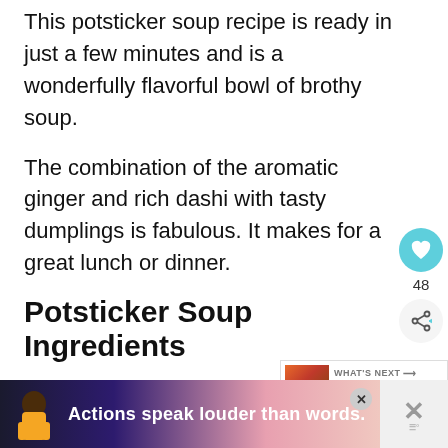This potsticker soup recipe is ready in just a few minutes and is a wonderfully flavorful bowl of brothy soup.
The combination of the aromatic ginger and rich dashi with tasty dumplings is fabulous. It makes for a great lunch or dinner.
Potsticker Soup Ingredients
For this delicious soup, you're going to need some dumplings (also called potstickers or gyoza), fresh vegetables (bok choy, carrots, ginger, and green onions), soup stock (broth), and more.
[Figure (infographic): Social sidebar with heart/like button showing 48 likes and a share button]
[Figure (infographic): What's Next promotional box showing Endive Salad Bites with... thumbnail]
[Figure (infographic): Advertisement banner reading Actions speak louder than words. with illustrated figure]